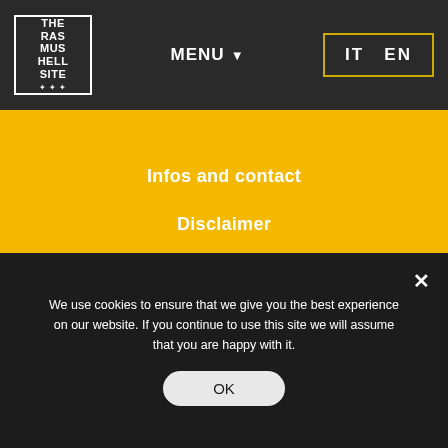THE RASMUSHELL SITE — MENU ▼ — IT EN
Infos and contact
Disclaimer
Cookie policy
[Figure (other): Social media icons: Instagram, Facebook, YouTube, RSS feed — white circles on yellow background]
We use cookies to ensure that we give you the best experience on our website. If you continue to use this site we will assume that you are happy with it.